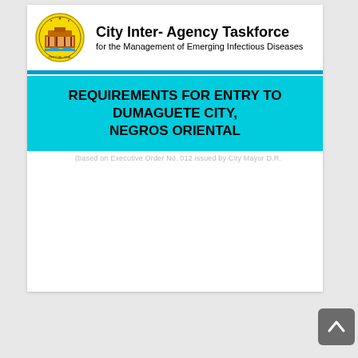[Figure (logo): Official seal/logo of Dumaguete City - circular yellow seal with building icon and text 'OFFICIAL SEAL']
City Inter- Agency Taskforce
for the Management of Emerging Infectious Diseases
REQUIREMENTS FOR ENTRY TO DUMAGUETE CITY, NEGROS ORIENTAL